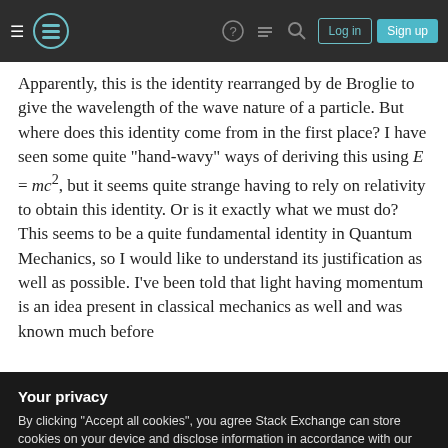Stack Exchange navigation bar with hamburger menu, logo, help, chat, search icons, Log in and Sign up buttons
Apparently, this is the identity rearranged by de Broglie to give the wavelength of the wave nature of a particle. But where does this identity come from in the first place? I have seen some quite "hand-wavy" ways of deriving this using E = mc², but it seems quite strange having to rely on relativity to obtain this identity. Or is it exactly what we must do? This seems to be a quite fundamental identity in Quantum Mechanics, so I would like to understand its justification as well as possible. I've been told that light having momentum is an idea present in classical mechanics as well and was known much before
Your privacy
By clicking "Accept all cookies", you agree Stack Exchange can store cookies on your device and disclose information in accordance with our Cookie Policy.
Share   Cite   edited Jun 5, 2018 at 17:37